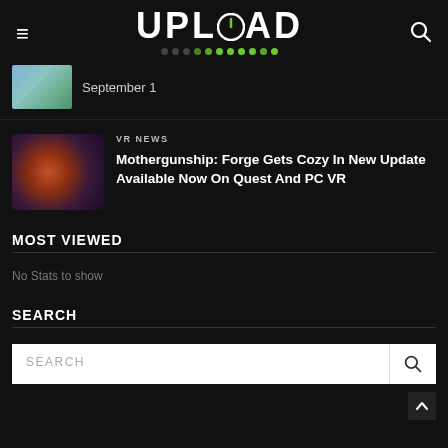UPLOAD
September 1
VR NEWS
Mothergunship: Forge Gets Cozy In New Update Available Now On Quest And PC VR
MOST VIEWED
No Stats to show
SEARCH
SEARCH (search input field)